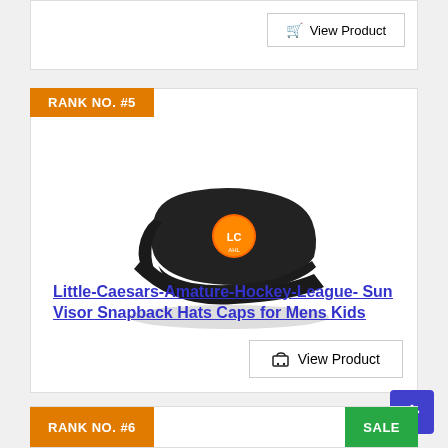[Figure (other): Partial top of a product card with a View Product button]
RANK NO. #5
[Figure (photo): Black sun visor snapback hat with Little Caesars Amateur Hockey League logo on front]
Little-Caesars-Amature-Hockey-League- Sun Visor Snapback Hats Caps for Mens Kids
View Product
RANK NO. #6
SALE